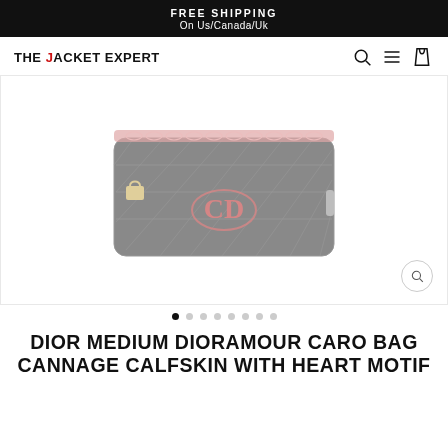FREE SHIPPING
On Us/Canada/Uk
[Figure (logo): THE JACKET EXPERT logo with navigation icons (search, menu, bag)]
[Figure (photo): Dior Medium Dioramour Caro Bag in black cannage calfskin with heart motif, quilted pattern, gold-tone hardware, red Dior logo on front, chain strap with leather detail]
DIOR MEDIUM DIORAMOUR CARO BAG CANNAGE CALFSKIN WITH HEART MOTIF